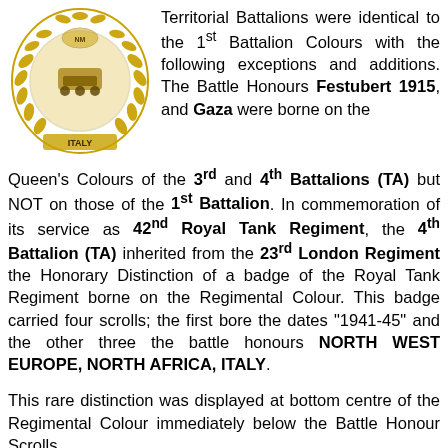[Figure (illustration): Military regiment badge with golden wreath and central emblem, with 'ITALY' scroll at bottom]
Territorial Battalions were identical to the 1st Battalion Colours with the following exceptions and additions. The Battle Honours Festubert 1915, and Gaza were borne on the Queen's Colours of the 3rd and 4th Battalions (TA) but NOT on those of the 1st Battalion. In commemoration of its service as 42nd Royal Tank Regiment, the 4th Battalion (TA) inherited from the 23rd London Regiment the Honorary Distinction of a badge of the Royal Tank Regiment borne on the Regimental Colour. This badge carried four scrolls; the first bore the dates "1941-45" and the other three the battle honours NORTH WEST EUROPE, NORTH AFRICA, ITALY.
This rare distinction was displayed at bottom centre of the Regimental Colour immediately below the Battle Honour Scrolls.
Battle Honours not borne on the Colours